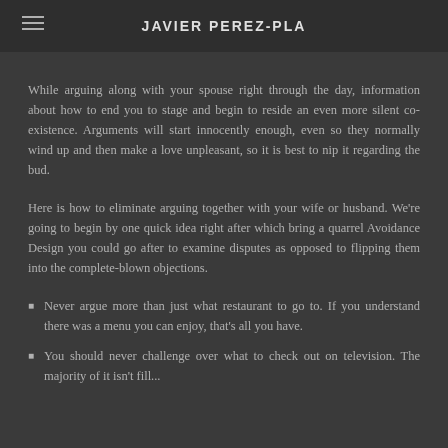JAVIER PEREZ-PLA
While arguing along with your spouse right through the day, information about how to end you to stage and begin to reside an even more silent co-existence. Arguments will start innocently enough, even so they normally wind up and then make a love unpleasant, so it is best to nip it regarding the bud.
Here is how to eliminate arguing together with your wife or husband. We're going to begin by one quick idea right after which bring a quarrel Avoidance Design you could go after to examine disputes as opposed to flipping them into the complete-blown objections.
Never argue more than just what restaurant to go to. If you understand there was a menu you can enjoy, that's all you have.
You should never challenge over what to check out on television. The majority of it isn't all...